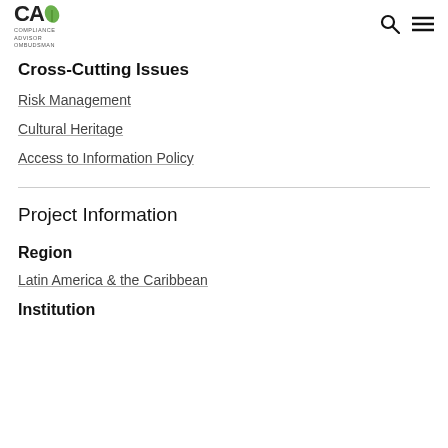CAO Compliance Advisor Ombudsman
Cross-Cutting Issues
Risk Management
Cultural Heritage
Access to Information Policy
Project Information
Region
Latin America & the Caribbean
Institution